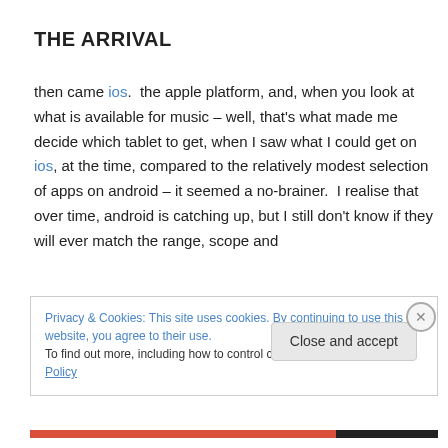THE ARRIVAL
then came ios.  the apple platform, and, when you look at what is available for music – well, that's what made me decide which tablet to get, when I saw what I could get on ios, at the time, compared to the relatively modest selection of apps on android – it seemed a no-brainer.  I realise that over time, android is catching up, but I still don't know if they will ever match the range, scope and
Privacy & Cookies: This site uses cookies. By continuing to use this website, you agree to their use.
To find out more, including how to control cookies, see here: Cookie Policy
Close and accept